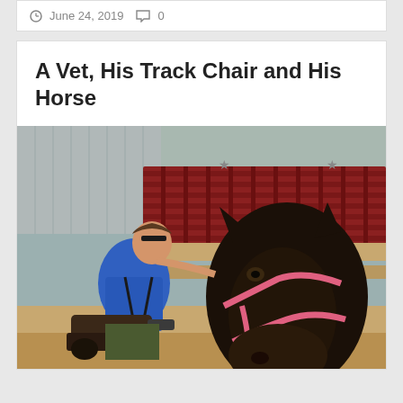June 24, 2019   0
A Vet, His Track Chair and His Horse
[Figure (photo): A man in a blue shirt sitting in a track wheelchair leans forward toward a dark brown/black horse wearing a pink halter, inside a barn with red metal stall gates and star decorations in the background.]